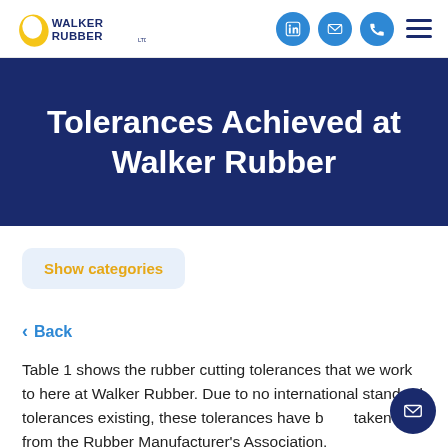WALKER RUBBER [logo with LinkedIn, email, phone icons and hamburger menu]
Tolerances Achieved at Walker Rubber
Show categories
< Back
Table 1 shows the rubber cutting tolerances that we work to here at Walker Rubber. Due to no international standard tolerances existing, these tolerances have been taken from the Rubber Manufacturer's Association.